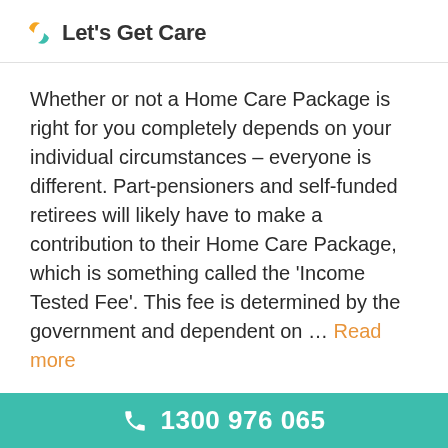Let's Get Care
Whether or not a Home Care Package is right for you completely depends on your individual circumstances – everyone is different. Part-pensioners and self-funded retirees will likely have to make a contribution to their Home Care Package, which is something called the 'Income Tested Fee'. This fee is determined by the government and dependent on … Read more
1300 976 065